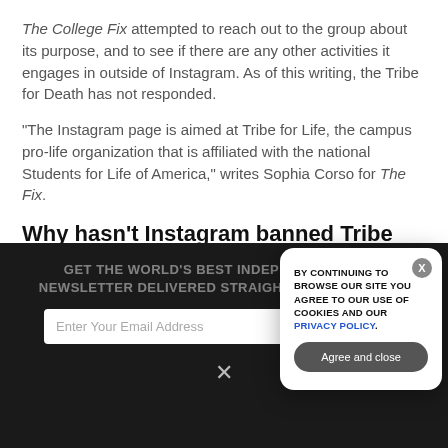The College Fix attempted to reach out to the group about its purpose, and to see if there are any other activities it engages in outside of Instagram. As of this writing, the Tribe for Death has not responded.
"The Instagram page is aimed at Tribe for Life, the campus pro-life organization that is affiliated with the national Students for Life of America," writes Sophia Corso for The Fix.
Why hasn't Instagram banned Tribe for Death for bullying pro-lifers?
[Figure (screenshot): Dark newsletter signup section with email input and subscribe button, overlaid by a cookie consent modal popup with 'BY CONTINUING TO BROWSE OUR SITE YOU AGREE TO OUR USE OF COOKIES AND OUR PRIVACY POLICY.' text, an 'Agree and close' button, and a close X button.]